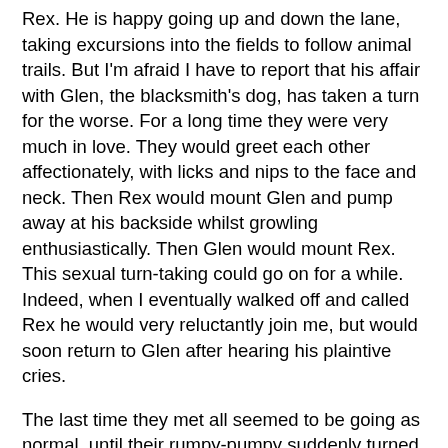Rex. He is happy going up and down the lane, taking excursions into the fields to follow animal trails. But I'm afraid I have to report that his affair with Glen, the blacksmith's dog, has taken a turn for the worse. For a long time they were very much in love. They would greet each other affectionately, with licks and nips to the face and neck. Then Rex would mount Glen and pump away at his backside whilst growling enthusiastically. Then Glen would mount Rex. This sexual turn-taking could go on for a while. Indeed, when I eventually walked off and called Rex he would very reluctantly join me, but would soon return to Glen after hearing his plaintive cries.
The last time they met all seemed to be going as normal, until their rumpy-pumpy suddenly turned into a full-scale fight. I don't know why. Both dogs leapt at each other, snarling and biting. It was a ferocious melee of twisting bodies, each trying to pin the other down and bite them. The fight spun across the lane as I looked on startled and helpless. Then, suddenly, it was over. Glen ran away and Rex stood in the lane shaking and panting through foam-flecked lips. As we all know, the path of young love does not